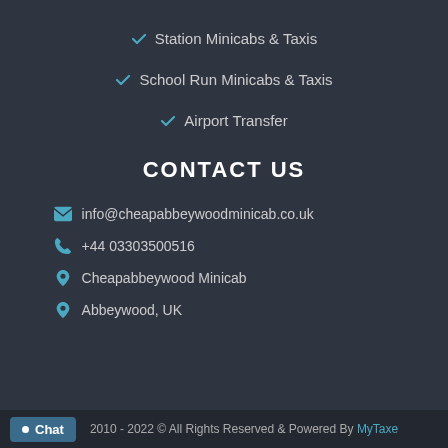Station Minicabs & Taxis
School Run Minicabs & Taxis
Airport Transfer
CONTACT US
info@cheapabbeywoodminicab.co.uk
+44 03303500516
Cheapabbeywood Minicab
Abbeywood, UK
2010 - 2022 © All Rights Reserved & Powered By MyTaxe